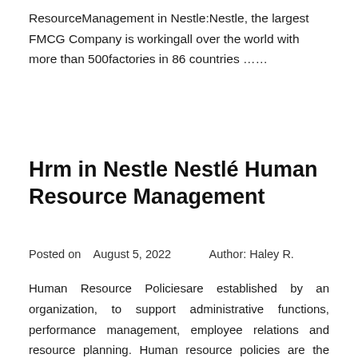ResourceManagement in Nestle:Nestle, the largest FMCG Company is workingall over the world with more than 500factories in 86 countries ......
Hrm in Nestle Nestlé Human Resource Management
Posted on  August 5, 2022     Author: Haley R.
Human Resource Policiesare established by an organization, to support administrative functions, performance management, employee relations and resource planning. Human resource policies are the formal rules and guidelines that company